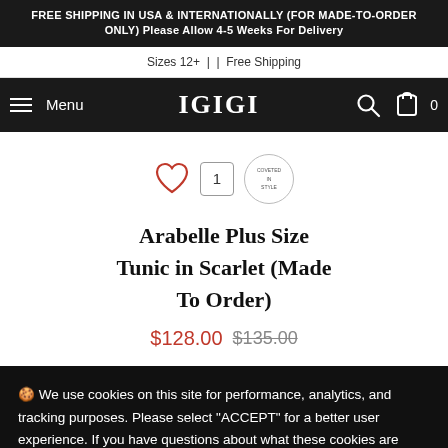FREE SHIPPING IN USA & INTERNATIONALLY (FOR MADE-TO-ORDER ONLY) Please Allow 4-5 Weeks For Delivery
Sizes 12+  |  |  Free Shipping
Menu  IGIGI  0
Arabelle Plus Size Tunic in Scarlet (Made To Order)
$128.00  $135.00
🍪 We use cookies on this site for performance, analytics, and tracking purposes. Please select "ACCEPT" for a better user experience. If you have questions about what these cookies are tracking, please take a moment to review our privacy policy. Learn more